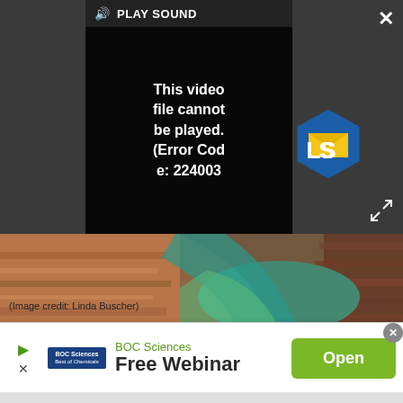[Figure (screenshot): Video player overlay showing 'PLAY SOUND' bar with speaker icon at top, and a black overlay with error message 'This video file cannot be played. (Error Code: 224003)'. An LS (LearnSmart) logo appears to the right. A close X button is at top right and expand arrows at lower right.]
[Figure (photo): Aerial photograph of a canyon river (likely Colorado River at the Grand Canyon), showing red-brown canyon walls and a green river winding through the gorge.]
(Image credit: Linda Buscher)
[Figure (screenshot): Advertisement banner for BOC Sciences Free Webinar with a green 'Open' button on the right.]